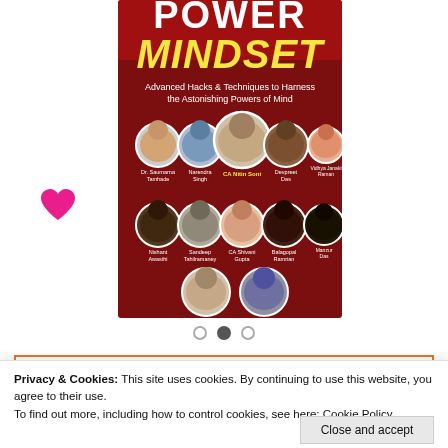[Figure (illustration): Book cover for 'Power Mindset - Advanced Hacks & Techniques to Harness the Astonishing Powers of Mind' on a dark red background with yellow title text and circular portrait photos of 12 authors including CA Nitin Soni, Dr. Saumarna Tamhade, Narendra Singh, Devpreet Das, Vidhya Janaki Raman, Nishant Awasthi, Sandeep Tahilramancy, CA Shivani Gupta, Balagopal Ramriam, Manzur Das, Manoj Chhabiani, Dr. Dilip Gupta]
[Figure (infographic): Three pagination dots below the book cover image, with the middle dot filled/active]
Privacy & Cookies: This site uses cookies. By continuing to use this website, you agree to their use.
To find out more, including how to control cookies, see here: Cookie Policy
Close and accept